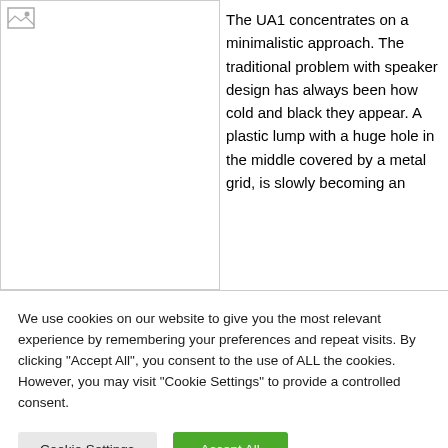[Figure (photo): Broken image placeholder icon in the top-left area of a two-column layout]
The UA1 concentrates on a minimalistic approach. The traditional problem with speaker design has always been how cold and black they appear. A plastic lump with a huge hole in the middle covered by a metal grid, is slowly becoming an
We use cookies on our website to give you the most relevant experience by remembering your preferences and repeat visits. By clicking "Accept All", you consent to the use of ALL the cookies. However, you may visit "Cookie Settings" to provide a controlled consent.
Cookie Settings
Accept All